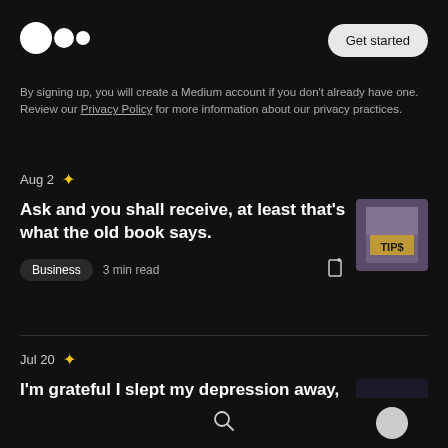[Figure (logo): Medium logo — three circles (two small, one large) in white on black background]
Get started
By signing up, you will create a Medium account if you don't already have one. Review our Privacy Policy for more information about our privacy practices.
Aug 2 ✦
Ask and you shall receive, at least that's what the old book says.
[Figure (photo): Small thumbnail image of a jar labeled TIPS with blurred background]
Business  3 min read
Jul 20 ✦
I'm grateful I slept my depression away, sleep really is important.
[Figure (photo): Small thumbnail of a dark bedroom scene]